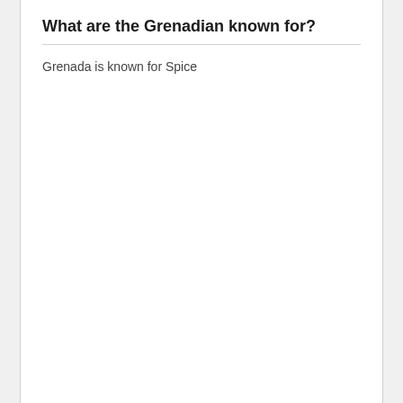What are the Grenadian known for?
Grenada is known for Spice